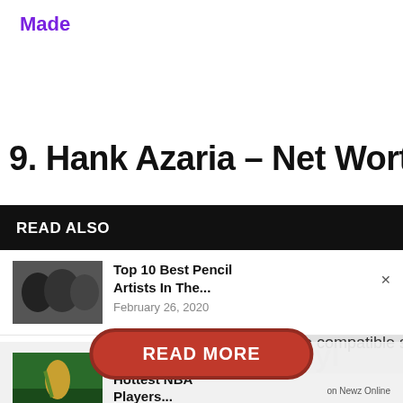Made
9. Hank Azaria – Net Worth $70
READ ALSO
Top 10 Best Pencil Artists In The... February 26, 2020
Top 15 Best And Hottest NBA Players... December 28, 2021
Top 10 Anime Directors In The
No compatible source was found for this media.
10. Syl
READ MORE
on Newz Online